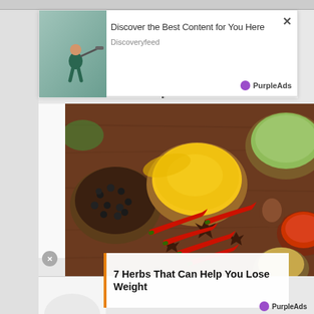[Figure (screenshot): Advertisement panel with person looking through telescope on teal background. Title: Discover the Best Content for You Here. Source: Discoveryfeed. PurpleAds badge.]
Discover the Best Content for You Here
Discoveryfeed
PurpleAds
[Figure (illustration): Comic panel with speech bubble: JUST FULL OF SURPRISES.]
[Figure (illustration): Comic panel with speech bubble: Newbies do the heavy lifting, right?]
[Figure (illustration): Comic panel with word PERK]
[Figure (photo): Large photo of various spices and herbs in bowls: black pepper, yellow turmeric, red chili peppers, star anise, dried herbs, red chili flakes, coriander seeds on a wooden surface.]
7 Herbs That Can Help You Lose Weight
PurpleAds